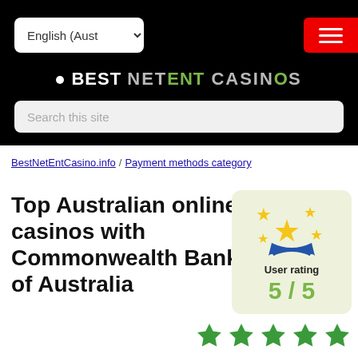[Figure (screenshot): Black header bar with English (Aust) language dropdown selector on the left and red hamburger menu button on the right]
[Figure (logo): Best NetEnt Casinos logo in white and gray text on black background]
[Figure (screenshot): Search bar with placeholder text 'Search this site' on dark background]
BestNetEntCasino.info / Payment methods category
Top Australian online casinos with Commonwealth Bank of Australia
[Figure (infographic): User rating box with gold star trophy icon, showing 'User rating' label and '5 / 5' score in green on light yellow-green background]
[Figure (infographic): Five green filled star icons rating row]